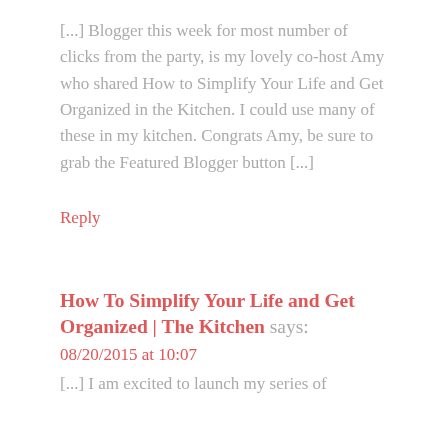[...] Blogger this week for most number of clicks from the party, is my lovely co-host Amy who shared How to Simplify Your Life and Get Organized in the Kitchen. I could use many of these in my kitchen. Congrats Amy, be sure to grab the Featured Blogger button [...]
Reply
How To Simplify Your Life and Get Organized | The Kitchen says:
08/20/2015 at 10:07
[...] I am excited to launch my series of